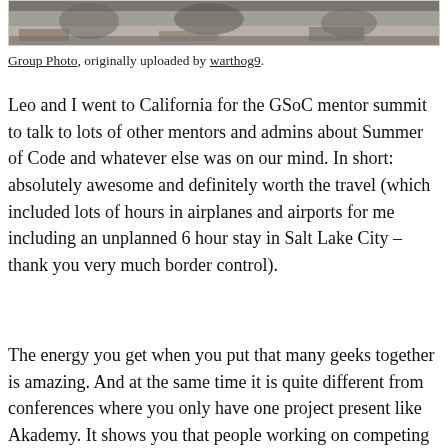[Figure (photo): Top portion of a group photo showing people lying or sitting on the floor, partially cropped]
Group Photo, originally uploaded by warthog9.
Leo and I went to California for the GSoC mentor summit to talk to lots of other mentors and admins about Summer of Code and whatever else was on our mind. In short: absolutely awesome and definitely worth the travel (which included lots of hours in airplanes and airports for me including an unplanned 6 hour stay in Salt Lake City – thank you very much border control).
The energy you get when you put that many geeks together is amazing. And at the same time it is quite different from conferences where you only have one project present like Akademy. It shows you that people working on competing projects are actually pretty cool people when sitting in a hot tub with